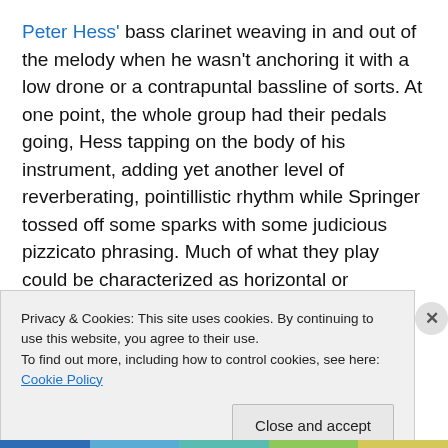Peter Hess' bass clarinet weaving in and out of the melody when he wasn't anchoring it with a low drone or a contrapuntal bassline of sorts. At one point, the whole group had their pedals going, Hess tapping on the body of his instrument, adding yet another level of reverberating, pointillistic rhythm while Springer tossed off some sparks with some judicious pizzicato phrasing. Much of what they play could be characterized as horizontal or minimalist, but horizontality doesn't often offer the opportunity for this kind of interplay or just plain fun. The crowd was rapt all the way through. It would have been interesting to stick
Privacy & Cookies: This site uses cookies. By continuing to use this website, you agree to their use.
To find out more, including how to control cookies, see here: Cookie Policy